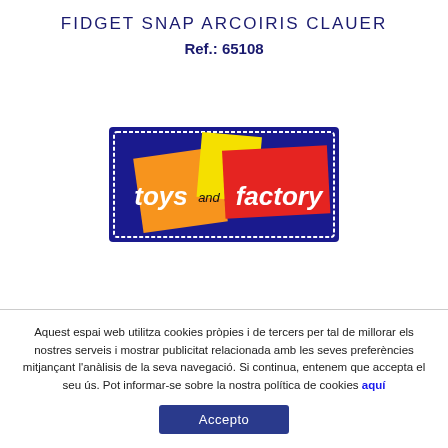FIDGET SNAP ARCOIRIS CLAUER
Ref.: 65108
[Figure (logo): Toys and Factory logo: colorful squares (orange, yellow, red) on a dark blue background with white handwritten text 'toys and factory']
Aquest espai web utilitza cookies pròpies i de tercers per tal de millorar els nostres serveis i mostrar publicitat relacionada amb les seves preferències mitjançant l'anàlisis de la seva navegació. Si continua, entenem que accepta el seu ús. Pot informar-se sobre la nostra política de cookies aquí
Accepto